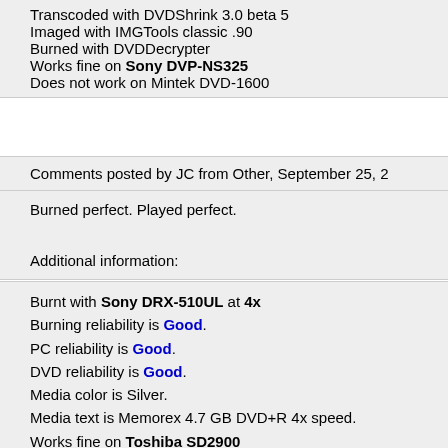Transcoded with DVDShrink 3.0 beta 5
Imaged with IMGTools classic .90
Burned with DVDDecrypter
Works fine on Sony DVP-NS325
Does not work on Mintek DVD-1600
Comments posted by JC from Other, September 25, 2
Burned perfect. Played perfect.
Additional information:
Burnt with Sony DRX-510UL at 4x
Burning reliability is Good.
PC reliability is Good.
DVD reliability is Good.
Media color is Silver.
Media text is Memorex 4.7 GB DVD+R 4x speed.
Works fine on Toshiba SD2900